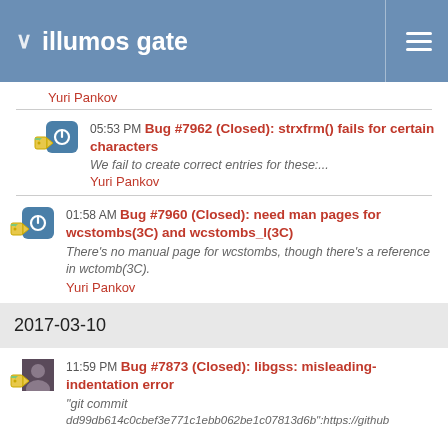illumos gate
Yuri Pankov
05:53 PM Bug #7962 (Closed): strxfrm() fails for certain characters
We fail to create correct entries for these:...
Yuri Pankov
01:58 AM Bug #7960 (Closed): need man pages for wcstombs(3C) and wcstombs_l(3C)
There's no manual page for wcstombs, though there's a reference in wctomb(3C).
Yuri Pankov
2017-03-10
11:59 PM Bug #7873 (Closed): libgss: misleading-indentation error
"git commit
dd99db614c0cbef3e771c1ebb062be1c07813d6b":https://github